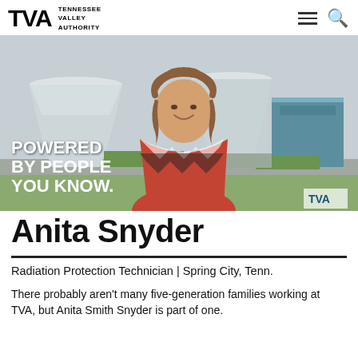TVA Tennessee Valley Authority
[Figure (photo): A smiling woman with shoulder-length brown hair wearing a colorful red, white and black patterned blouse stands in front of nuclear cooling towers and industrial buildings. Overlay text reads: POWERED BY PEOPLE YOU KNOW.]
Anita Snyder
Radiation Protection Technician | Spring City, Tenn.
There probably aren't many five-generation families working at TVA, but Anita Smith Snyder is part of one.